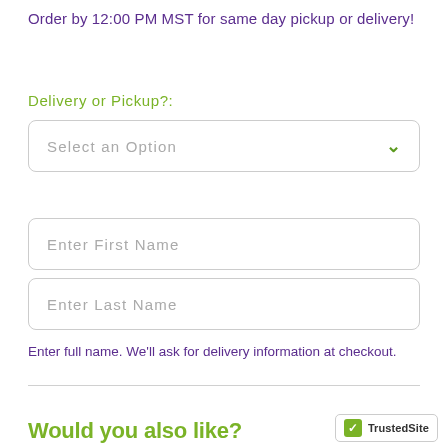Order by 12:00 PM MST for same day pickup or delivery!
Delivery or Pickup?:
Select an Option
Enter First Name
Enter Last Name
Enter full name. We'll ask for delivery information at checkout.
Would you also like?